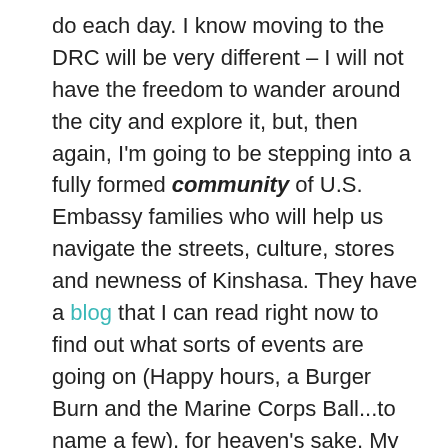do each day.  I know moving to the DRC will be very different – I will not have the freedom to wander around the city and explore it, but, then again, I'm going to be stepping into a fully formed community of U.S. Embassy families who will help us navigate the streets, culture, stores and newness of Kinshasa.  They have a blog that I can read right now to find out what sorts of events are going on (Happy hours, a Burger Burn and the Marine Corps Ball...to name a few), for heaven's sake.  My mother had none of that.
And, hand in hand with my mother, I also think about all the FS families who have gone before us.  Who have stepped into the unknown of a new post without the internet, Amazon Prime, Skype and mobile phones.  And it makes me realize that hardship is a wholly inaccurate